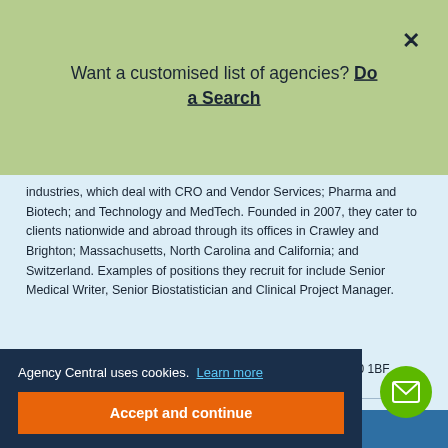Want a customised list of agencies? Do a Search
industries, which deal with CRO and Vendor Services; Pharma and Biotech; and Technology and MedTech. Founded in 2007, they cater to clients nationwide and abroad through its offices in Crawley and Brighton; Massachusetts, North Carolina and California; and Switzerland. Examples of positions they recruit for include Senior Medical Writer, Senior Biostatistician and Clinical Project Manager.
Origin Two, 106 High Street, Crawley, West Sussex, RH10 1BF
Display number
Agency Central uses cookies. Learn more
Accept and continue